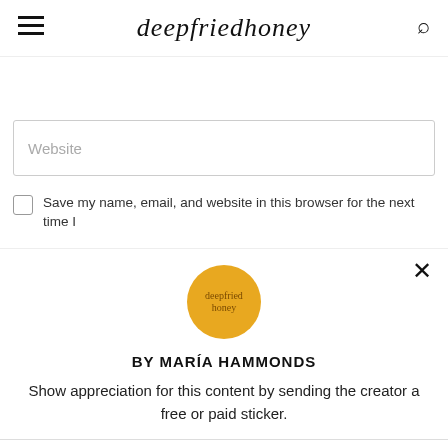deepfriedhoney
Website
Save my name, email, and website in this browser for the next time I
[Figure (logo): deepfriedhoney logo circle in golden yellow with cursive text]
BY MARÍA HAMMONDS
Show appreciation for this content by sending the creator a free or paid sticker.
[Figure (illustration): Six sticker options with prices: oven mitts (Free), potted plant ($1.00), pie ($2.00), burger ($4.00), sushi board ($8.00), hot cocoa mug ($12.00)]